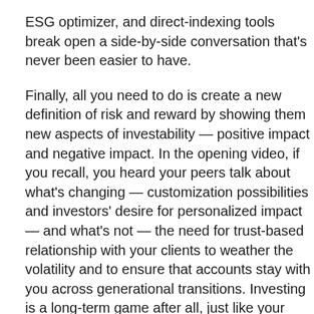ESG optimizer, and direct-indexing tools break open a side-by-side conversation that's never been easier to have.
Finally, all you need to do is create a new definition of risk and reward by showing them new aspects of investability — positive impact and negative impact. In the opening video, if you recall, you heard your peers talk about what's changing — customization possibilities and investors' desire for personalized impact — and what's not — the need for trust-based relationship with your clients to weather the volatility and to ensure that accounts stay with you across generational transitions. Investing is a long-term game after all, just like your business is, and serving the next generation of investors means taking what we do today and turning it up all the way to 11. It means showing your clients the value of collaboration. We